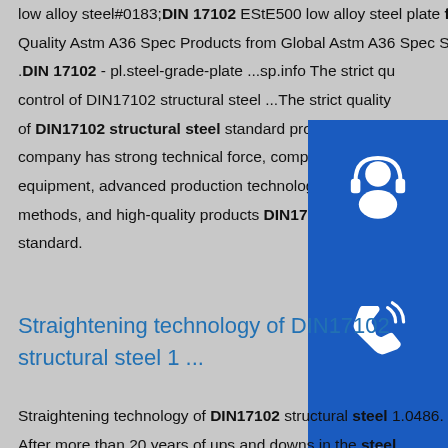low alloy steel#0183;DIN 17102 EStE500 low alloy steel plate factory - braunjp.Astm A36 Spec,Wholesale Various High Quality Astm A36 Spec Products from Global Astm A36 Spec Suppliers and Astm A36 Spec Factory,Importer,Exporter. .DIN 17102 - pl.steel-grade-plate ...sp.info The strict quality control of DIN17102 structural steel ...The strict quality of DIN17102 structural steel standard processing. The company has strong technical force, complete production equipment, advanced production technology, perfect testing methods, and high-quality products DIN17102 structural standard.
[Figure (infographic): Three blue square icons stacked vertically on the right side: a customer service/headset icon, a phone/call icon, and a Skype icon.]
Straightening technology of DIN17102 structural steel 1 ...
Straightening technology of DIN17102 structural steel 1.0486. After more than 20 years of ups and downs in the steel